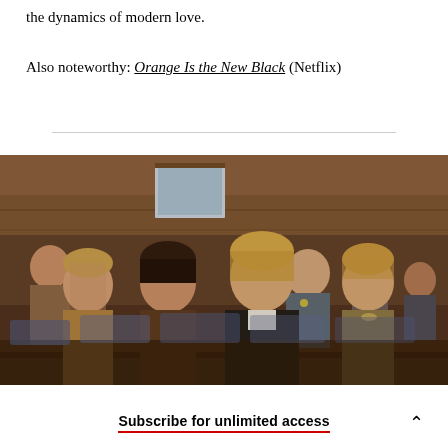the dynamics of modern love.
Also noteworthy: Orange Is the New Black (Netflix)
[Figure (photo): Courtroom scene with several people seated in gallery benches, including women in the foreground looking forward seriously, and a uniformed officer in the background. Warm wood-paneled courtroom interior.]
Subscribe for unlimited access